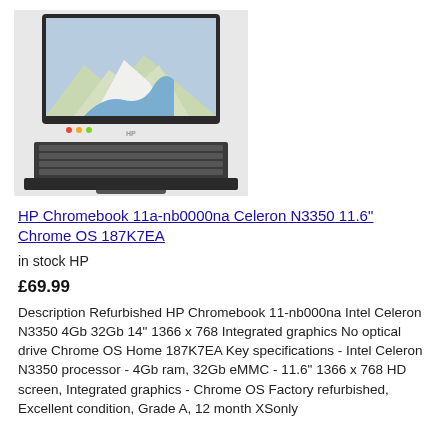[Figure (photo): HP Chromebook laptop with satellite map image on screen, dark grey body with keyboard and touchpad visible]
HP Chromebook 11a-nb0000na Celeron N3350 11.6" Chrome OS 187K7EA
in stock HP
£69.99
Description Refurbished HP Chromebook 11-nb000na Intel Celeron N3350 4Gb 32Gb 14" 1366 x 768 Integrated graphics No optical drive Chrome OS Home 187K7EA Key specifications - Intel Celeron N3350 processor - 4Gb ram, 32Gb eMMC - 11.6" 1366 x 768 HD screen, Integrated graphics - Chrome OS Factory refurbished, Excellent condition, Grade A, 12 month XSonly